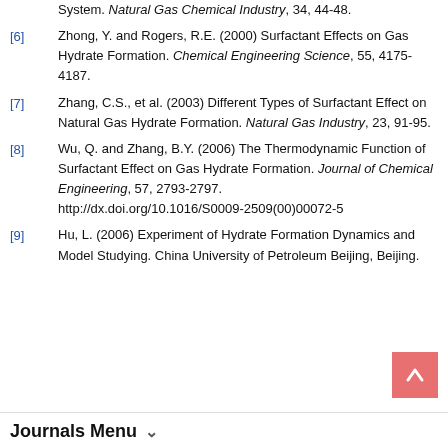[6] Zhong, Y. and Rogers, R.E. (2000) Surfactant Effects on Gas Hydrate Formation. Chemical Engineering Science, 55, 4175-4187.
[7] Zhang, C.S., et al. (2003) Different Types of Surfactant Effect on Natural Gas Hydrate Formation. Natural Gas Industry, 23, 91-95.
[8] Wu, Q. and Zhang, B.Y. (2006) The Thermodynamic Function of Surfactant Effect on Gas Hydrate Formation. Journal of Chemical Engineering, 57, 2793-2797. http://dx.doi.org/10.1016/S0009-2509(00)00072-5
[9] Hu, L. (2006) Experiment of Hydrate Formation Dynamics and Model Studying. China University of Petroleum Beijing, Beijing.
Journals Menu